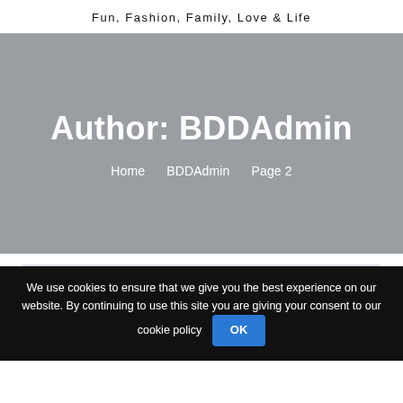Fun, Fashion, Family, Love & Life
Author: BDDAdmin
Home   BDDAdmin   Page 2
[Figure (photo): Light grey placeholder thumbnail image]
We use cookies to ensure that we give you the best experience on our website. By continuing to use this site you are giving your consent to our cookie policy  OK